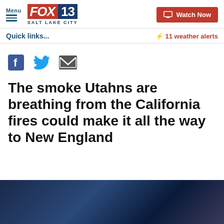FOX 13 SALT LAKE CITY — Menu | Watch Now
Quick links...
⚡ 11 weather alerts
[Figure (other): Social sharing icons: Facebook, Twitter, Email]
The smoke Utahns are breathing from the California fires could make it all the way to New England
[Figure (photo): Dark blue-tinted photo of a person, possibly indoors, partially visible at bottom of page]